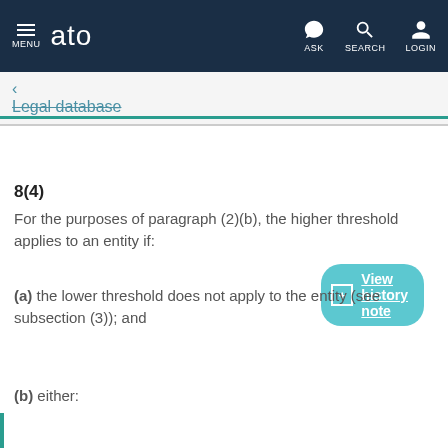MENU | ato | ASK | SEARCH | LOGIN
← Legal database
View history note
8(4)
For the purposes of paragraph (2)(b), the higher threshold applies to an entity if:
(a) the lower threshold does not apply to the entity (see subsection (3)); and
(b) either: